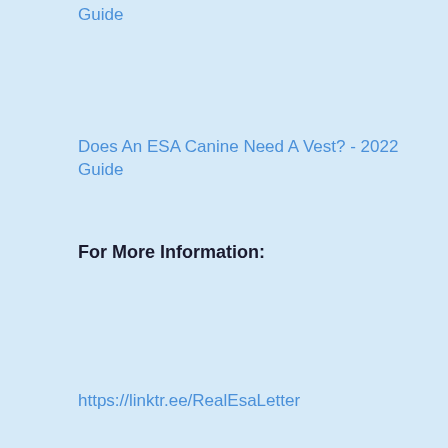Guide
Does An ESA Canine Need A Vest? - 2022 Guide
For More Information:
https://linktr.ee/RealEsaLetter